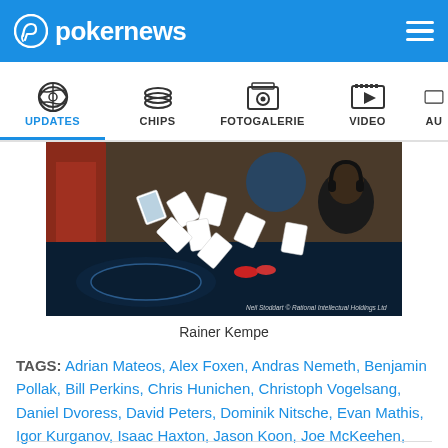pokernews
[Figure (screenshot): Navigation bar with icons for UPDATES, CHIPS, FOTOGALERIE, VIDEO, AU (partially visible)]
[Figure (photo): Poker table scene with cards flying/scattered in the air above a blue felt table. Neil Stoddart © Rational Intellectual Holdings Ltd watermark visible.]
Rainer Kempe
TAGS: Adrian Mateos, Alex Foxen, Andras Nemeth, Benjamin Pollak, Bill Perkins, Chris Hunichen, Christoph Vogelsang, Daniel Dvoress, David Peters, Dominik Nitsche, Evan Mathis, Igor Kurganov, Isaac Haxton, Jason Koon, Joe McKeehen, Michael Soyza, Mikita Badziakouski, Nick Petrangelo, Steffen Sontheimer, Stephen Chidwick, Timothy Adams